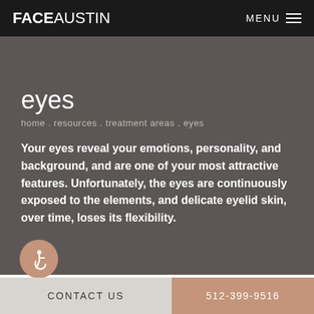FACEAUSTIN   MENU
eyes
home . resources . treatment areas . eyes
Your eyes reveal your emotions, personality, and background, and are one of your most attractive features. Unfortunately, the eyes are continuously exposed to the elements, and delicate eyelid skin, over time, loses its flexibility.
[Figure (illustration): Circular accessibility icon with wheelchair symbol in beige/tan color]
CONTACT US   512-399-9516